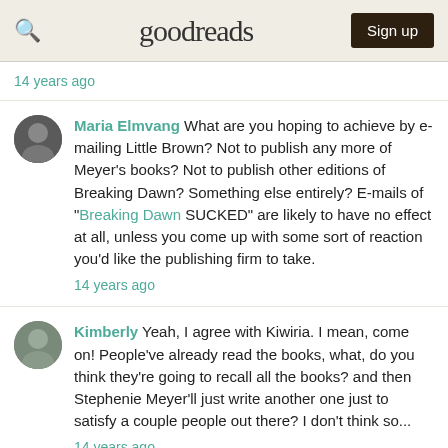goodreads | Sign up
14 years ago
Maria Elmvang What are you hoping to achieve by e-mailing Little Brown? Not to publish any more of Meyer's books? Not to publish other editions of Breaking Dawn? Something else entirely? E-mails of "Breaking Dawn SUCKED" are likely to have no effect at all, unless you come up with some sort of reaction you'd like the publishing firm to take.
14 years ago
Kimberly Yeah, I agree with Kiwiria. I mean, come on! People've already read the books, what, do you think they're going to recall all the books? and then Stephenie Meyer'll just write another one just to satisfy a couple people out there? I don't think so...
14 years ago
Lori Anderson Oh no. And it's such a thick book, waiting to